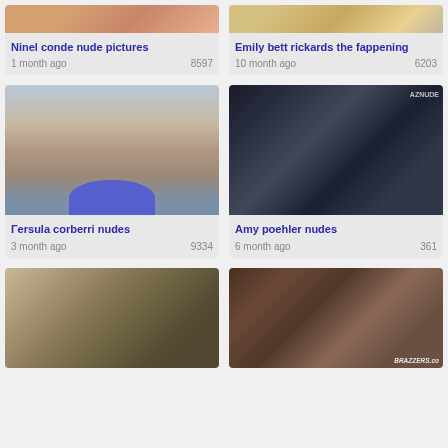[Figure (photo): Partial cropped photo of a woman - top portion only visible]
Ninel conde nude pictures
1 month ago   8597
[Figure (photo): Partial cropped photo of a blonde woman - top portion only visible]
Emily bett rickards the fappening
10 month ago   6203
[Figure (photo): Woman in purple bikini bottoms on a beach, topless, photographed from side]
Γersula corberri nudes
3 month ago   9334
[Figure (photo): Dark nighttime scene with woman in black bra and pink skirt, AZNUDE watermark]
Amy poehler nudes
6 month ago   361
[Figure (photo): Black and white vintage photo of horse riders]
[Figure (photo): Adult content photo with BRAZZERS.co watermark]